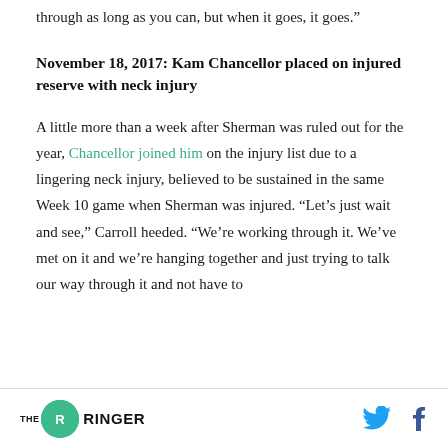through as long as you can, but when it goes, it goes.”
November 18, 2017: Kam Chancellor placed on injured reserve with neck injury
A little more than a week after Sherman was ruled out for the year, Chancellor joined him on the injury list due to a lingering neck injury, believed to be sustained in the same Week 10 game when Sherman was injured. “Let’s just wait and see,” Carroll heeded. “We’re working through it. We’ve met on it and we’re hanging together and just trying to talk our way through it and not have to
THE RINGER